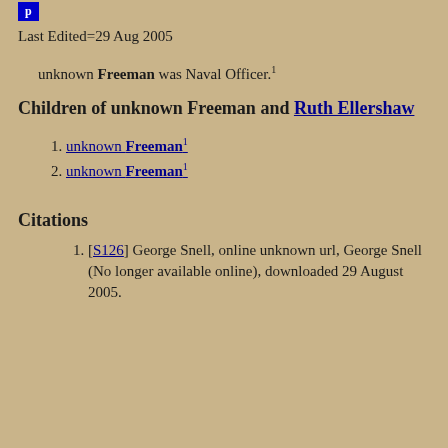[Figure (other): Blue navigation button at top left]
Last Edited=29 Aug 2005
unknown Freeman was Naval Officer.1
Children of unknown Freeman and Ruth Ellershaw
1. unknown Freeman1
2. unknown Freeman1
Citations
1. [S126] George Snell, online unknown url, George Snell (No longer available online), downloaded 29 August 2005.